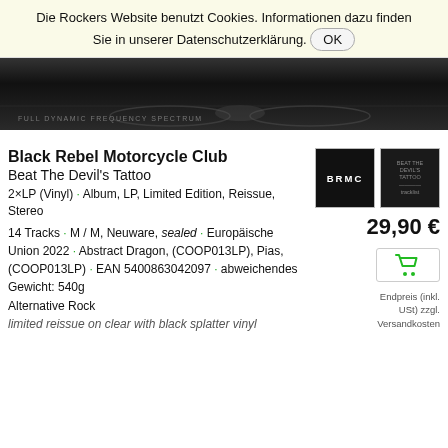Die Rockers Website benutzt Cookies. Informationen dazu finden Sie in unserer Datenschutzerklärung. OK
[Figure (photo): Dark album artwork banner image, black background with text 'FULL DYNAMIC FREQUENCY SPECTRUM' at bottom left, decorative wing-like shapes]
[Figure (photo): Thumbnail of album front cover showing 'BRMC' text on dark background]
[Figure (photo): Thumbnail of album back cover with track listing on dark background]
Black Rebel Motorcycle Club
Beat The Devil's Tattoo
2×LP (Vinyl) · Album, LP, Limited Edition, Reissue, Stereo
29,90 €
14 Tracks · M / M, Neuware, sealed · Europäische Union 2022 · Abstract Dragon, (COOP013LP), Pias, (COOP013LP) · EAN 5400863042097 · abweichendes Gewicht: 540g
Alternative Rock
Endpreis (inkl. USt) zzgl. Versandkosten
limited reissue on clear with black splatter vinyl